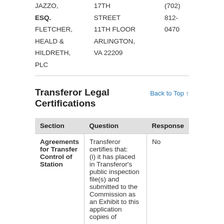| JAZZO, | 17TH | (702) |
| ESQ. | STREET | 812- |
| FLETCHER, | 11TH FLOOR | 0470 |
| HEALD & | ARLINGTON, |  |
| HILDRETH, | VA 22209 |  |
| PLC |  |  |
Transferor Legal Certifications
| Section | Question | Response |
| --- | --- | --- |
| Agreements for Transfer Control of Station | Transferor certifies that:
(i) it has placed in Transferor's public inspection file(s) and submitted to the Commission as an Exhibit to this application copies of | No |